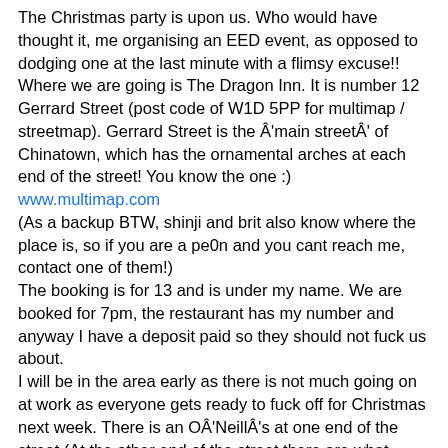The Christmas party is upon us. Who would have thought it, me organising an EED event, as opposed to dodging one at the last minute with a flimsy excuse!!
Where we are going is The Dragon Inn. It is number 12 Gerrard Street (post code of W1D 5PP for multimap / streetmap). Gerrard Street is the Â'main streetÂ' of Chinatown, which has the ornamental arches at each end of the street! You know the one :)
www.multimap.com
(As a backup BTW, shinji and brit also know where the place is, so if you are a pe0n and you cant reach me, contact one of them!)
The booking is for 13 and is under my name. We are booked for 7pm, the restaurant has my number and anyway I have a deposit paid so they should not fuck us about.
I will be in the area early as there is not much going on at work as everyone gets ready to fuck off for Christmas next week. There is an OÂ'NeillÂ's at one end of the street (At the other end of the street there are what looks like private houses, so you canÂ't miss it really) I will head in there, with the aim of being there between 5 and 6. I could be there earlier if someone like Daire was standing about on his own